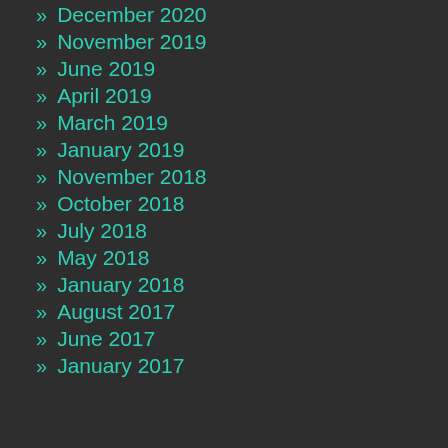» December 2020
» November 2019
» June 2019
» April 2019
» March 2019
» January 2019
» November 2018
» October 2018
» July 2018
» May 2018
» January 2018
» August 2017
» June 2017
» January 2017